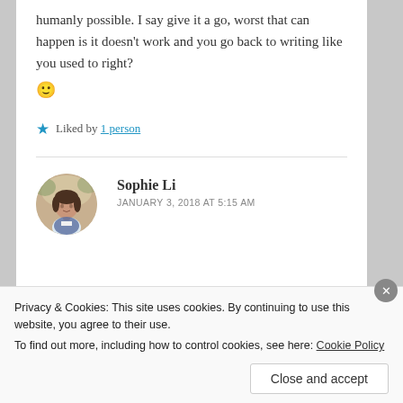humanly possible. I say give it a go, worst that can happen is it doesn't work and you go back to writing like you used to right? 🙂
Liked by 1 person
Sophie Li
JANUARY 3, 2018 AT 5:15 AM
Privacy & Cookies: This site uses cookies. By continuing to use this website, you agree to their use.
To find out more, including how to control cookies, see here: Cookie Policy
Close and accept